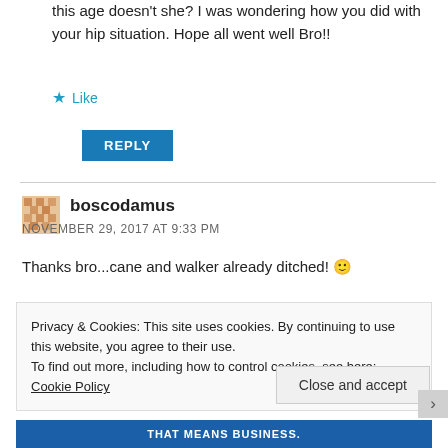this age doesn't she? I was wondering how you did with your hip situation. Hope all went well Bro!!
★ Like
REPLY
boscodamus
NOVEMBER 29, 2017 AT 9:33 PM
Thanks bro...cane and walker already ditched! 🙂
Privacy & Cookies: This site uses cookies. By continuing to use this website, you agree to their use.
To find out more, including how to control cookies, see here: Cookie Policy
Close and accept
THAT MEANS BUSINESS.